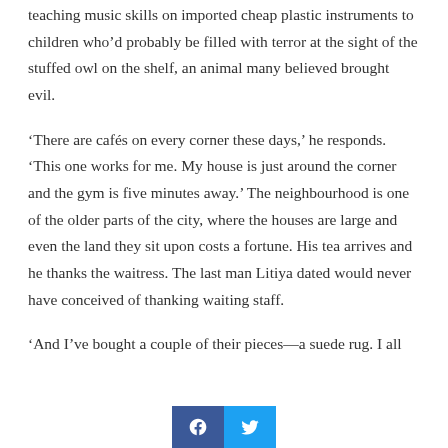teaching music skills on imported cheap plastic instruments to children who'd probably be filled with terror at the sight of the stuffed owl on the shelf, an animal many believed brought evil.
'There are cafés on every corner these days,' he responds. 'This one works for me. My house is just around the corner and the gym is five minutes away.' The neighbourhood is one of the older parts of the city, where the houses are large and even the land they sit upon costs a fortune. His tea arrives and he thanks the waitress. The last man Litiya dated would never have conceived of thanking waiting staff.
'And I've bought a couple of their pieces—a suede rug. I all
[Figure (other): Social media share buttons: Facebook (blue) and Twitter (light blue)]